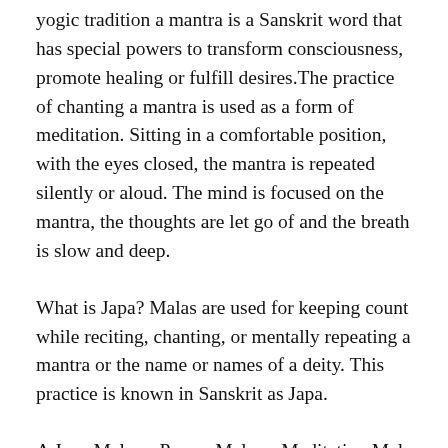yogic tradition a mantra is a Sanskrit word that has special powers to transform consciousness, promote healing or fulfill desires.The practice of chanting a mantra is used as a form of meditation. Sitting in a comfortable position, with the eyes closed, the mantra is repeated silently or aloud. The mind is focused on the mantra, the thoughts are let go of and the breath is slow and deep.
What is Japa? Malas are used for keeping count while reciting, chanting, or mentally repeating a mantra or the name or names of a deity. This practice is known in Sanskrit as Japa.
A Japa Mala or Prayer Mala or Meditation Mala (meaning garland) is a set of beads commonly used by Hindus and Buddhists, usually made from 108 beads, though other numbers, usually divisible by 9,